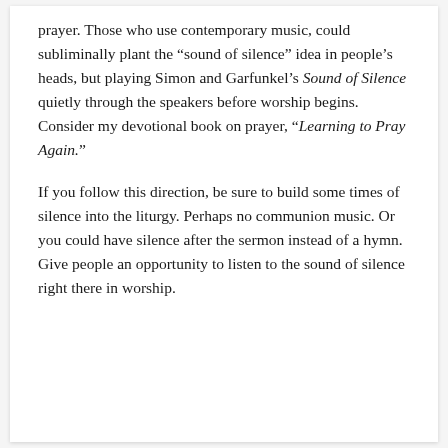prayer. Those who use contemporary music, could subliminally plant the “sound of silence” idea in people’s heads, but playing Simon and Garfunkel’s Sound of Silence quietly through the speakers before worship begins. Consider my devotional book on prayer, “Learning to Pray Again.”
If you follow this direction, be sure to build some times of silence into the liturgy. Perhaps no communion music. Or you could have silence after the sermon instead of a hymn. Give people an opportunity to listen to the sound of silence right there in worship.